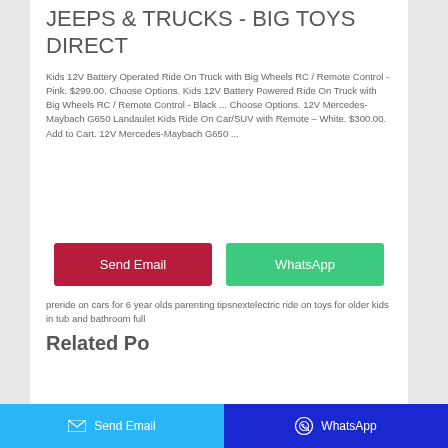JEEPS & TRUCKS - BIG TOYS DIRECT
Kids 12V Battery Operated Ride On Truck with Big Wheels RC / Remote Control - Pink. $299.00. Choose Options. Kids 12V Battery Powered Ride On Truck with Big Wheels RC / Remote Control - Black ... Choose Options. 12V Mercedes-Maybach G650 Landaulet Kids Ride On Car/SUV with Remote – White. $300.00. Add to Cart. 12V Mercedes-Maybach G650 ...
[Figure (other): Send Email button (dark red) and WhatsApp button (green)]
pre⁠ride on cars for 6 year olds parenting tipsnext⁠electric ride on toys for older kids in tub and bathroom full
Related Posts
Send Email | WhatsApp